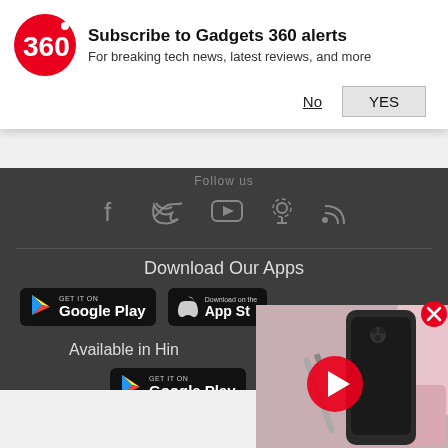[Figure (screenshot): Gadgets 360 subscription notification banner with logo, title 'Subscribe to Gadgets 360 alerts', subtitle 'For breaking tech news, latest reviews, and more', and No/YES buttons]
[Figure (screenshot): Dark website footer with social icons (Facebook, Twitter, YouTube, Podcast, RSS), Download Our Apps section with Google Play and App Store badges, Available in Hindi section with Google Play badge, and a video popup showing a smartphone with play button]